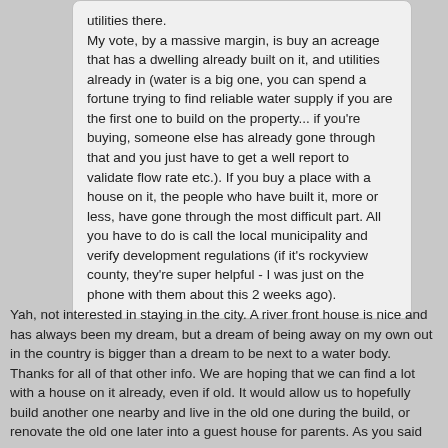utilities there.

My vote, by a massive margin, is buy an acreage that has a dwelling already built on it, and utilities already in (water is a big one, you can spend a fortune trying to find reliable water supply if you are the first one to build on the property... if you're buying, someone else has already gone through that and you just have to get a well report to validate flow rate etc.). If you buy a place with a house on it, the people who have built it, more or less, have gone through the most difficult part. All you have to do is call the local municipality and verify development regulations (if it's rockyview county, they're super helpful - I was just on the phone with them about this 2 weeks ago).
Yah, not interested in staying in the city. A river front house is nice and has always been my dream, but a dream of being away on my own out in the country is bigger than a dream to be next to a water body. Thanks for all of that other info. We are hoping that we can find a lot with a house on it already, even if old. It would allow us to hopefully build another one nearby and live in the old one during the build, or renovate the old one later into a guest house for parents. As you said